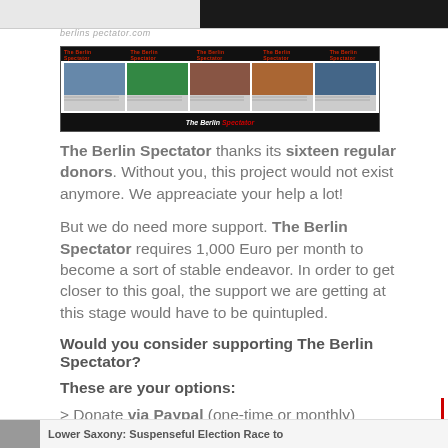[Figure (screenshot): Screenshot of The Berlin Spectator website showing navigation bar and article thumbnails]
The Berlin Spectator thanks its sixteen regular donors. Without you, this project would not exist anymore. We appreaciate your help a lot!
But we do need more support. The Berlin Spectator requires 1,000 Euro per month to become a sort of stable endeavor. In order to get closer to this goal, the support we are getting at this stage would have to be quintupled.
Would you consider supporting The Berlin Spectator?
These are your options:
> Donate via Paypal (one-time or monthly)
> Become a patron on Patreon (monthly)
Thank you very much.
Lower Saxony: Suspenseful Election Race to